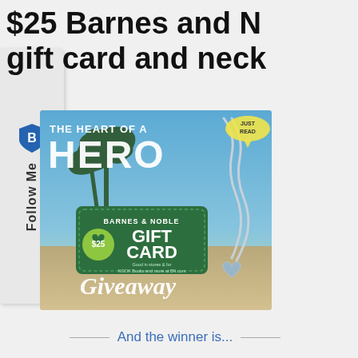$25 Barnes and Noble gift card and necklace
[Figure (illustration): Giveaway promotional image showing a Barnes & Noble $25 Gift Card and a silver heart necklace against a tropical beach background, with text 'THE HEART OF A HERO' at top and 'Giveaway' in script at the bottom.]
And the winner is...